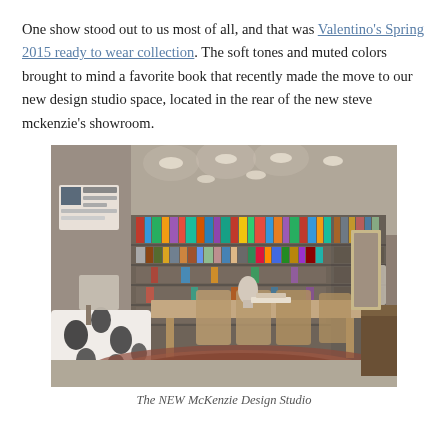One show stood out to us most of all, and that was Valentino's Spring 2015 ready to wear collection. The soft tones and muted colors brought to mind a favorite book that recently made the move to our new design studio space, located in the rear of the new steve mckenzie's showroom.
[Figure (photo): Interior photo of the NEW McKenzie Design Studio, showing a room with floor-to-ceiling bookshelves filled with books, a central table with wicker/rattan chairs, a black-and-white patterned wingback chair in the foreground left, lamps, a mannequin bust on the table, a decorative rug, and recessed ceiling lights.]
The NEW McKenzie Design Studio